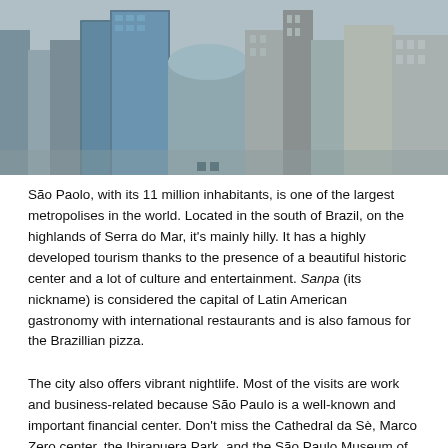[Figure (photo): Aerial view of São Paulo cityscape showing dense urban buildings and skyscrapers]
São Paolo, with its 11 million inhabitants, is one of the largest metropolises in the world. Located in the south of Brazil, on the highlands of Serra do Mar, it's mainly hilly. It has a highly developed tourism thanks to the presence of a beautiful historic center and a lot of culture and entertainment. Sanpa (its nickname) is considered the capital of Latin American gastronomy with international restaurants and is also famous for the Brazillian pizza.
The city also offers vibrant nightlife. Most of the visits are work and business-related because São Paulo is a well-known and important financial center. Don't miss the Cathedral da Sè, Marco Zero center, the Ibirapuera Park, and the São Paulo Museum of